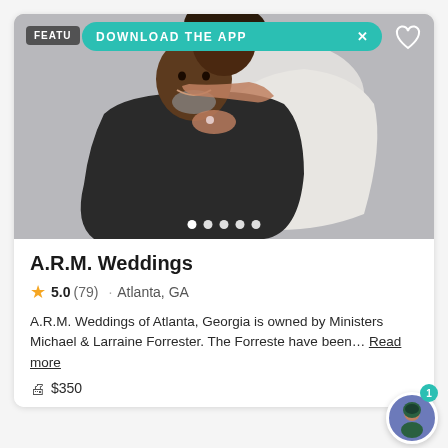[Figure (photo): A couple posing for a portrait photo — a man in a black suit with a clerical collar seated, smiling, and a woman in a white dress standing behind him with her arms around his shoulders. Light gray background.]
A.R.M. Weddings
5.0 (79) · Atlanta, GA
A.R.M. Weddings of Atlanta, Georgia is owned by Ministers Michael & Larraine Forrester. The Forreste have been... Read more
$350